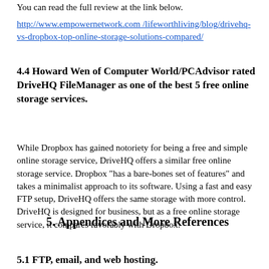You can read the full review at the link below.
http://www.empowernetwork.com/lifeworthliving/blog/drivehq-vs-dropbox-top-online-storage-solutions-compared/
4.4 Howard Wen of Computer World/PCAdvisor rated DriveHQ FileManager as one of the best 5 free online storage services.
While Dropbox has gained notoriety for being a free and simple online storage service, DriveHQ offers a similar free online storage service. Dropbox "has a bare-bones set of features" and takes a minimalist approach to its software. Using a fast and easy FTP setup, DriveHQ offers the same storage with more control. DriveHQ is designed for business, but as a free online storage service, it compares favorably with Dropbox.
5. Appendices and More References
5.1 FTP, email, and web hosting.